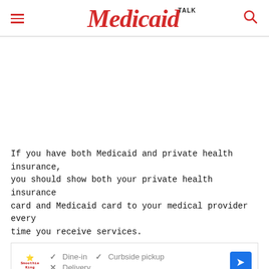Medicaid TALK
If you have both Medicaid and private health insurance, you should show both your private health insurance card and Medicaid card to your medical provider every time you receive services.
[Figure (other): Advertisement banner for Smoothie King showing dine-in, curbside pickup (checked), and delivery (crossed out) options, with a navigation arrow icon.]